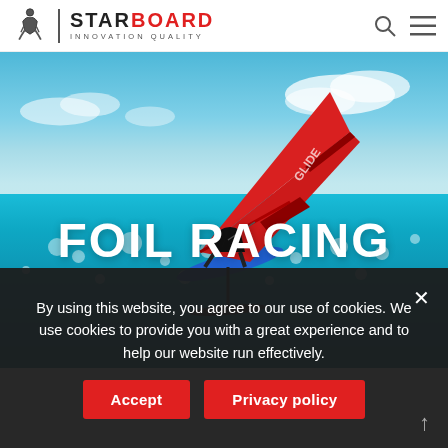[Figure (logo): Starboard logo with figure icon, vertical divider, STARBOARD text (STAR in black, BOARD in red), and INNOVATION QUALITY tagline]
[Figure (photo): Windsurfer on a hydrofoil above turquoise ocean water, red sail with white text, blue sky with clouds, underwater view showing bubbles]
FOIL RACING
By using this website, you agree to our use of cookies. We use cookies to provide you with a great experience and to help our website run effectively.
Accept
Privacy policy